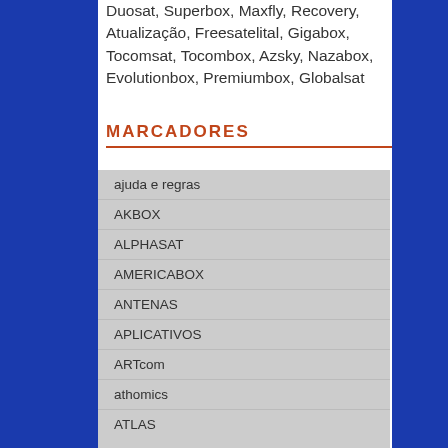Duosat, Superbox, Maxfly, Recovery, Atualização, Freesatelital, Gigabox, Tocomsat, Tocombox, Azsky, Nazabox, Evolutionbox, Premiumbox, Globalsat
MARCADORES
ajuda e regras
AKBOX
ALPHASAT
AMERICABOX
ANTENAS
APLICATIVOS
ARTcom
athomics
ATLAS